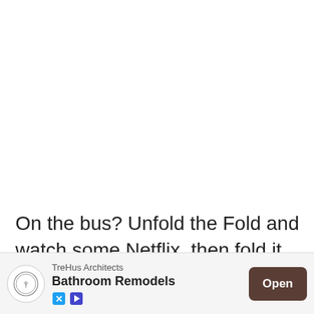On the bus? Unfold the Fold and watch some Netflix, then fold it up and put it in your pocket when you get to your stop. Trying to make your way to a new restaurant after ge... can look at ...gh
[Figure (other): Advertisement banner at the bottom: TreHus Architects - Bathroom Remodels with an Open button]